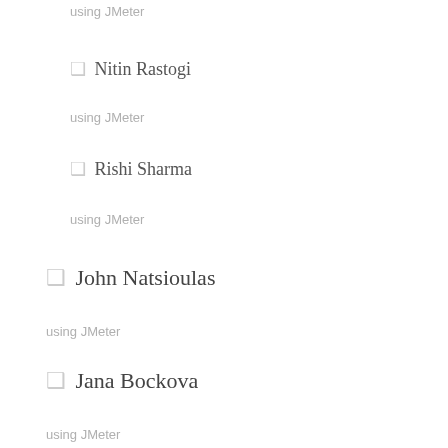using JMeter
❑ Nitin Rastogi
using JMeter
❑ Rishi Sharma
using JMeter
❑ John Natsioulas
using JMeter
❑ Jana Bockova
using JMeter